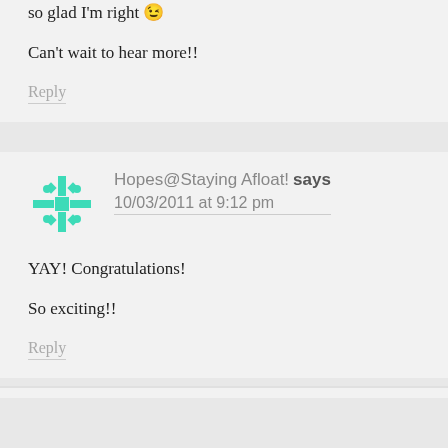so glad I'm right 😉
Can't wait to hear more!!
Reply
Hopes@Staying Afloat! says
10/03/2011 at 9:12 pm
YAY! Congratulations!
So exciting!!
Reply